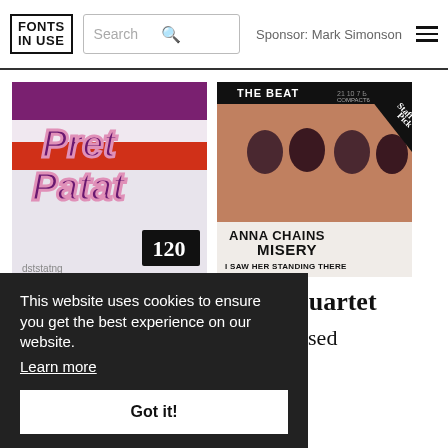FONTS IN USE | Search | Sponsor: Mark Simonson
[Figure (photo): Pret Patat packaging with retro typography showing '120']
[Figure (photo): The Beatles record cover with Staff Pick badge, showing 'ANNA CHAINS MISERY I SAW HER STANDING THERE']
Charade
Filmo. Quartet
lta
io Condensed
This website uses cookies to ensure you get the best experience on our website. Learn more
Got it!